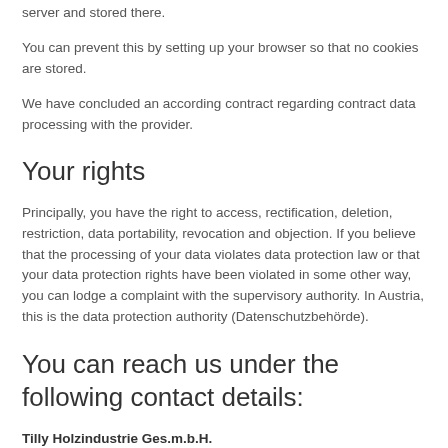its users. The generated information is transferred to the provider's server and stored there.
You can prevent this by setting up your browser so that no cookies are stored.
We have concluded an according contract regarding contract data processing with the provider.
Your rights
Principally, you have the right to access, rectification, deletion, restriction, data portability, revocation and objection. If you believe that the processing of your data violates data protection law or that your data protection rights have been violated in some other way, you can lodge a complaint with the supervisory authority. In Austria, this is the data protection authority (Datenschutzbehörde).
You can reach us under the following contact details:
Tilly Holzindustrie Ges.m.b.H.